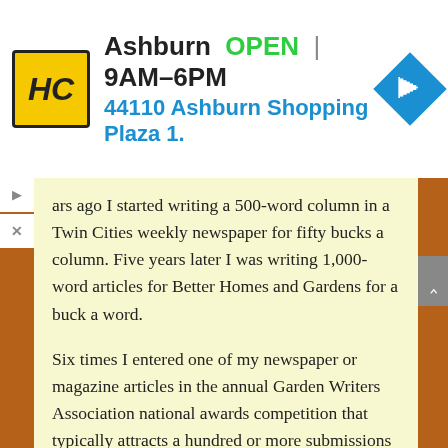[Figure (screenshot): Advertisement banner: HC logo in yellow/black, Ashburn OPEN 9AM-6PM, 44110 Ashburn Shopping Plaza 1., with blue navigation diamond icon]
ars ago I started writing a 500-word column in a Twin Cities weekly newspaper for fifty bucks a column. Five years later I was writing 1,000-word articles for Better Homes and Gardens for a buck a word.
Six times I entered one of my newspaper or magazine articles in the annual Garden Writers Association national awards competition that typically attracts a hundred or more submissions each year. Six times I won. I have a box of awards sitting in my basement to prove it.
[Figure (photo): Photograph of framed award certificates on a table. One certificate reads '2003 Award of Achievement - Don Engebretsen'. Another dark frame is partially visible on the right.]